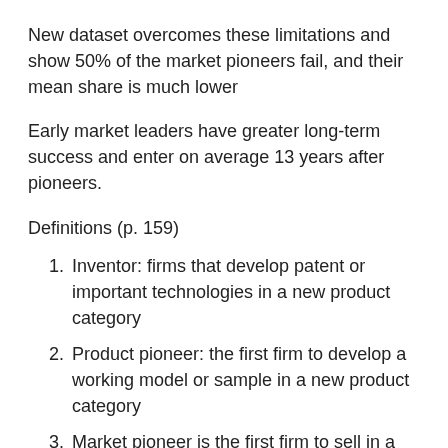New dataset overcomes these limitations and show 50% of the market pioneers fail, and their mean share is much lower
Early market leaders have greater long-term success and enter on average 13 years after pioneers.
Definitions (p. 159)
Inventor: firms that develop patent or important technologies in a new product category
Product pioneer: the first firm to develop a working model or sample in a new product category
Market pioneer is the first firm to sell in a new product category
Product category: a group of close substitutes